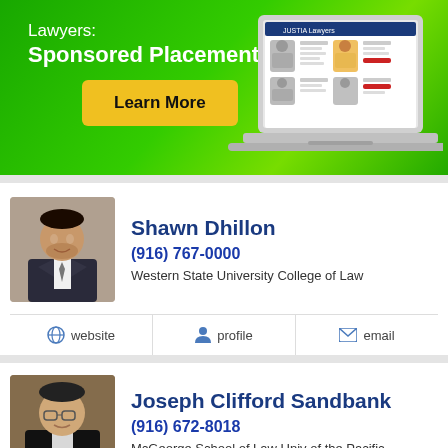[Figure (infographic): Green banner advertisement for Justia Lawyers sponsored placements, with a laptop mockup showing lawyer profiles, and a yellow 'Learn More' button.]
Shawn Dhillon
(916) 767-0000
Western State University College of Law
website  profile  email
Joseph Clifford Sandbank
(916) 672-8018
McGeorge School of Law Univ of the Pacific